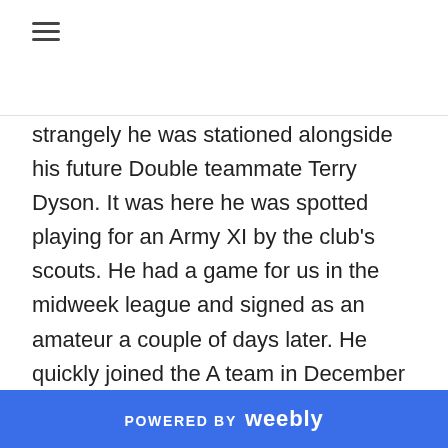[Figure (other): Hamburger menu icon (three horizontal lines)]
strangely he was stationed alongside his future Double teammate Terry Dyson. It was here he was spotted playing for an Army XI by the club's scouts. He had a game for us in the midweek league and signed as an amateur a couple of days later. He quickly joined the A team in December 1954 and signed professional forms the following month.

He soon progressed to the reserves and in March played for the first team at left back in a 5-1 win with Swiss side Servette at the Lane.  The team that day
POWERED BY weebly